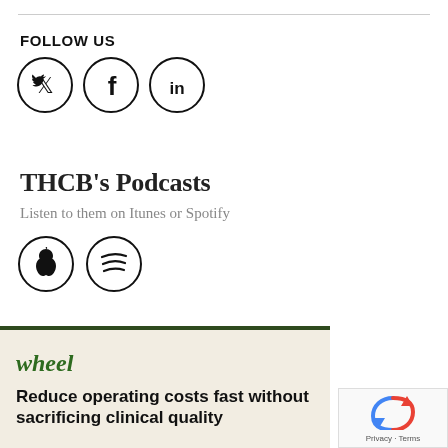FOLLOW US
[Figure (illustration): Three social media icons in circles: Twitter (bird), Facebook (f), LinkedIn (in)]
THCB's Podcasts
Listen to them on Itunes or Spotify
[Figure (illustration): Two podcast platform icons in circles: Apple Podcasts (apple logo), Spotify (lines logo)]
[Figure (illustration): Advertisement box with dark green top border, beige background. Shows 'wheel' in green italic, then bold headline: Reduce operating costs fast without sacrificing clinical quality]
[Figure (illustration): reCAPTCHA badge in bottom right corner showing Privacy - Terms]